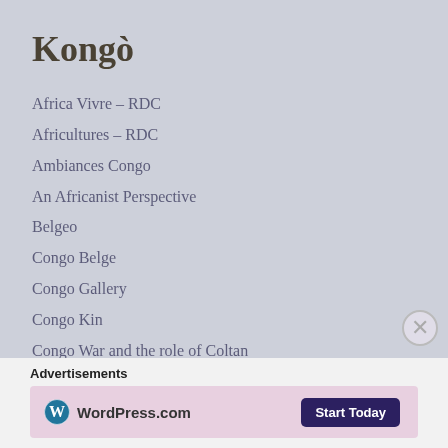Kongò
Africa Vivre – RDC
Africultures – RDC
Ambiances Congo
An Africanist Perspective
Belgeo
Congo Belge
Congo Gallery
Congo Kin
Congo War and the role of Coltan
Congo14Festival
Congolese Legends of Music
Festival Amani
Advertisements
[Figure (logo): WordPress.com logo with Start Today button on pink advertisement banner]